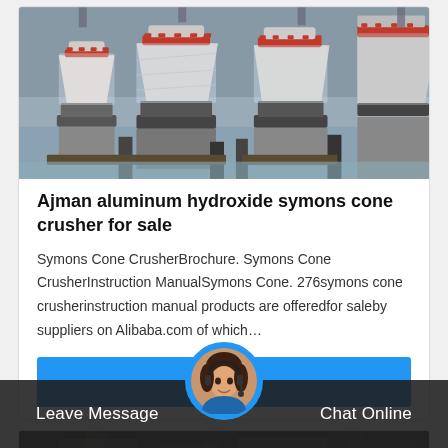[Figure (photo): Industrial cone crushers wrapped in plastic shrink wrap sitting on pallets in a factory warehouse. Multiple cone-shaped machines with red and white coloring visible.]
Ajman aluminum hydroxide symons cone crusher for sale
Symons Cone CrusherBrochure. Symons Cone CrusherInstruction ManualSymons Cone. 276symons cone crusherinstruction manual products are offeredfor saleby suppliers on Alibaba.com of which…
[Figure (other): Get Price button - blue rectangular button]
[Figure (photo): Second product card showing industrial equipment in a dark factory setting]
[Figure (other): Bottom navigation bar with Leave Message and Chat Online options and a circular avatar photo of a customer service representative]